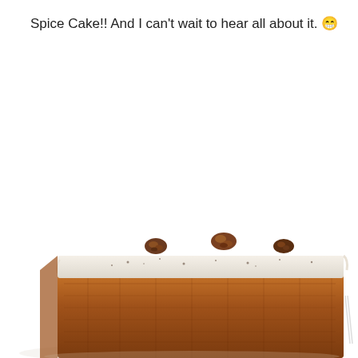Spice Cake!! And I can't wait to hear all about it. 😁
[Figure (photo): A close-up photograph of a slice of spice cake with white cream cheese frosting on top, sprinkled with dark spices, and topped with pecan pieces. The cake has a dense, moist golden-brown crumb and is presented on a white plate.]